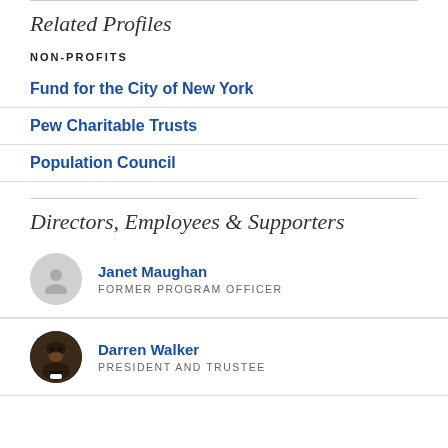Related Profiles
NON-PROFITS
Fund for the City of New York
Pew Charitable Trusts
Population Council
Directors, Employees & Supporters
Janet Maughan
FORMER PROGRAM OFFICER
Darren Walker
PRESIDENT AND TRUSTEE